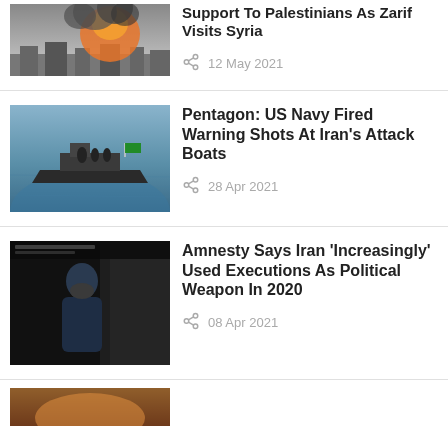[Figure (photo): Smoke and explosion over a city, war/conflict scene]
Support To Palestinians As Zarif Visits Syria
12 May 2021
[Figure (photo): Naval boat with Iranian flag on open sea]
Pentagon: US Navy Fired Warning Shots At Iran's Attack Boats
28 Apr 2021
[Figure (photo): Person in dark setting, prisoner or detainee]
Amnesty Says Iran 'Increasingly' Used Executions As Political Weapon In 2020
08 Apr 2021
[Figure (photo): Partial image at bottom, orange/warm tones]